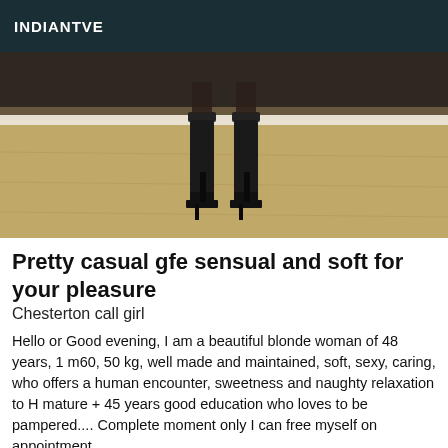INDIANTVE
[Figure (photo): Photo showing legs/feet wearing dark high-heeled boots on a wooden/laminate floor with white baseboard visible]
Pretty casual gfe sensual and soft for your pleasure
Chesterton call girl
Hello or Good evening, I am a beautiful blonde woman of 48 years, 1 m60, 50 kg, well made and maintained, soft, sexy, caring, who offers a human encounter, sweetness and naughty relaxation to H mature + 45 years good education who loves to be pampered.... Complete moment only I can free myself on appointment and on the agenda the time of an exclusive and private